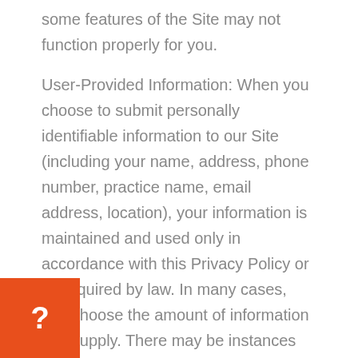some features of the Site may not function properly for you.
User-Provided Information: When you choose to submit personally identifiable information to our Site (including your name, address, phone number, practice name, email address, location), your information is maintained and used only in accordance with this Privacy Policy or as required by law. In many cases, you choose the amount of information you supply. There may be instances where some of the information that we ask you to provide is identified as mandatory and some as voluntary. In such cases, if you do not provide mandatory personal information with respect to a particular activity, you will not be able to engage in that activity. We may